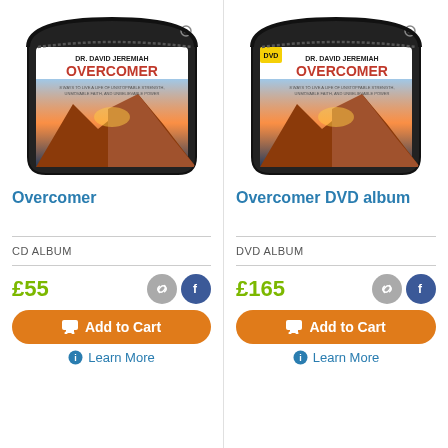[Figure (photo): CD album case for Overcomer by Dr. David Jeremiah, zipper pouch with mountain sunset cover art]
Overcomer
CD ALBUM
£55
Add to Cart
Learn More
[Figure (photo): DVD album case for Overcomer by Dr. David Jeremiah, zipper pouch with mountain sunset cover art and DVD logo]
Overcomer DVD album
DVD ALBUM
£165
Add to Cart
Learn More